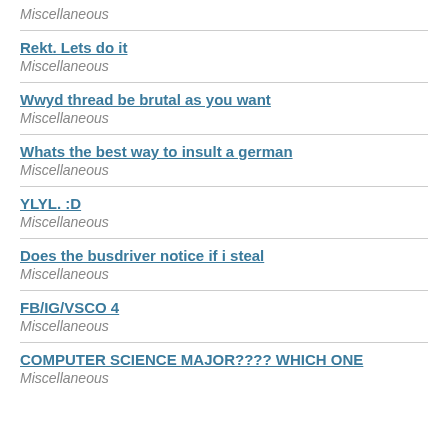Miscellaneous
Rekt. Lets do it
Miscellaneous
Wwyd thread be brutal as you want
Miscellaneous
Whats the best way to insult a german
Miscellaneous
YLYL. :D
Miscellaneous
Does the busdriver notice if i steal
Miscellaneous
FB/IG/VSCO 4
Miscellaneous
COMPUTER SCIENCE MAJOR???? WHICH ONE
Miscellaneous